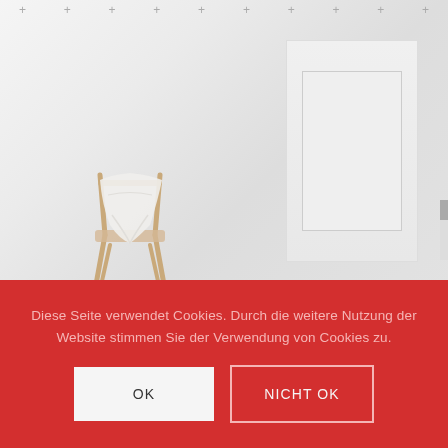[Figure (photo): Bright minimalist room with a wooden chair with white draped fabric/towel, and a white wardrobe/panel on the right. Grid of plus signs visible at the top edge. Light, airy white interior.]
Diese Seite verwendet Cookies. Durch die weitere Nutzung der Website stimmen Sie der Verwendung von Cookies zu.
OK
NICHT OK